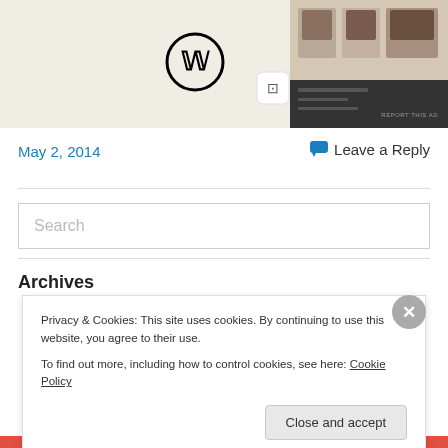[Figure (screenshot): WordPress ad banner with WordPress logo, a small square icon, and food photo grid on the right. Shows a meal planning or food blog interface.]
REPORT THIS AD
May 2, 2014
Leave a Reply
Search
Archives
Privacy & Cookies: This site uses cookies. By continuing to use this website, you agree to their use.
To find out more, including how to control cookies, see here: Cookie Policy
Close and accept